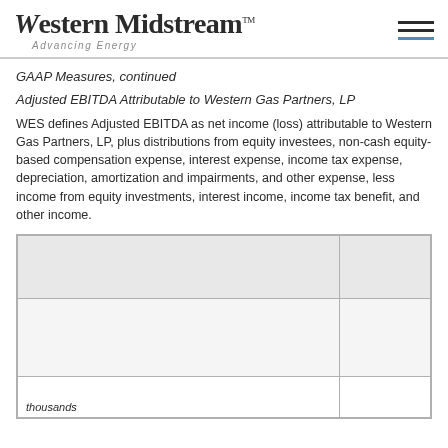Western Midstream™ Advancing Energy
GAAP Measures, continued
Adjusted EBITDA Attributable to Western Gas Partners, LP
WES defines Adjusted EBITDA as net income (loss) attributable to Western Gas Partners, LP, plus distributions from equity investees, non-cash equity-based compensation expense, interest expense, income tax expense, depreciation, amortization and impairments, and other expense, less income from equity investments, interest income, income tax benefit, and other income.
|  |  |
| --- | --- |
|  |  |
|  |  |
| thousands |  |